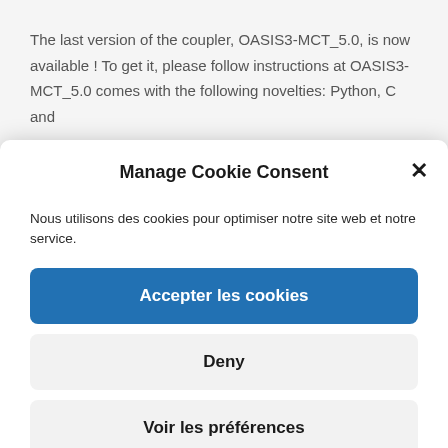The last version of the coupler, OASIS3-MCT_5.0, is now available ! To get it, please follow instructions at OASIS3-MCT_5.0 comes with the following novelties: Python, C and
Manage Cookie Consent
Nous utilisons des cookies pour optimiser notre site web et notre service.
Accepter les cookies
Deny
Voir les préférences
Privacy policy  Privacy policy
in oasis3-mct/examples directory Update to MCT 2.11 Update of compiling environment Migration from SVN to GIT for source management Migration of the OASIS3-MCT web site to